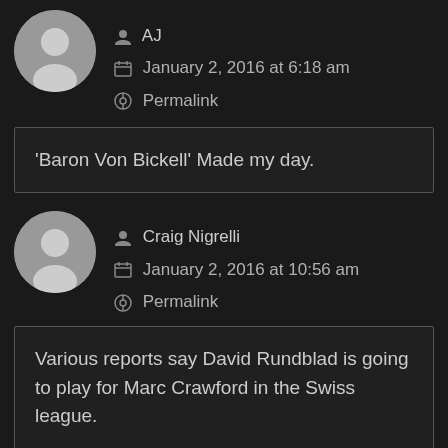AJ
January 2, 2016 at 6:18 am
Permalink
'Baron Von Bickell' Made my day.
Craig Nigrelli
January 2, 2016 at 10:56 am
Permalink
Various reports say David Rundblad is going to play for Marc Crawford in the Swiss league.

Would explain why he is listed as # 0. , on the Rockford website. Paper move only until they could finalize move to Swiss league.